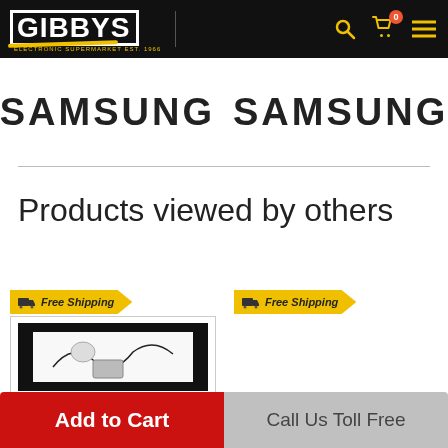GIBBYS ELECTRONIC SUPERMARKET EST. 1966
[Figure (logo): Samsung brand banner with two Samsung wordmarks side by side]
Products viewed by others
[Figure (photo): Free Shipping badge on product card 1 with product image (frame/TV)]
[Figure (photo): Free Shipping badge on product card 2]
Add to Cart
Call Us Toll Free